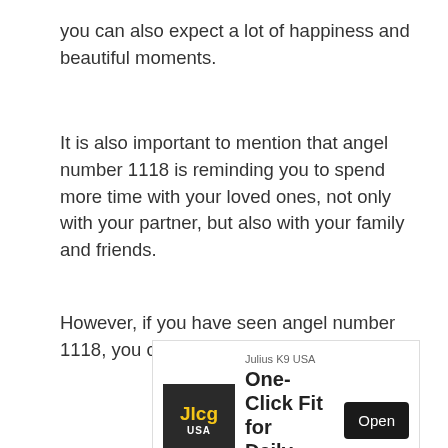you can also expect a lot of happiness and beautiful moments.
It is also important to mention that angel number 1118 is reminding you to spend more time with your loved ones, not only with your partner, but also with your family and friends.
However, if you have seen angel number 1118, you can be
[Figure (other): Advertisement banner for Julius K9 USA featuring the JKg USA logo, headline 'One-Click Fit for Daily Use', and an Open button]